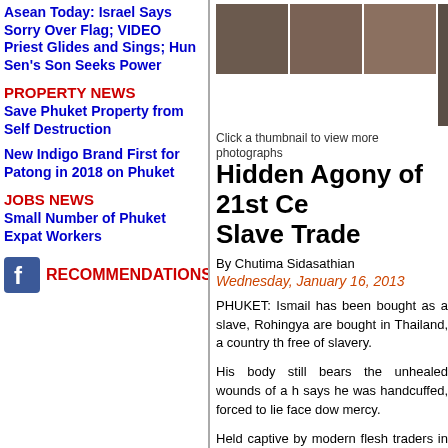Asean Today: Israel Says Sorry Over Flag; VIDEO Priest Glides and Sings; Hun Sen's Son Seeks Power
PROPERTY NEWS
Save Phuket Property from Self Destruction
New Indigo Brand First for Patong in 2018 on Phuket
JOBS NEWS
Small Number of Phuket Expat Workers
RECOMMENDATIONS
[Figure (photo): Strip of thumbnail photos showing injured or captive individuals]
Click a thumbnail to view more photographs
Hidden Agony of 21st Ce... Slave Trade
By Chutima Sidasathian
Wednesday, January 16, 2013
PHUKET: Ismail has been bought as a slave, Rohingya are bought in Thailand, a country th... free of slavery.
His body still bears the unhealed wounds of a h... says he was handcuffed, forced to lie face dow... mercy.
Held captive by modern flesh traders in a st... country, he did what uppity slaves always have... - he tried to escape.
This is Thailand, 2013. Ismail's broken body... shocking indictment of a nation not yet...